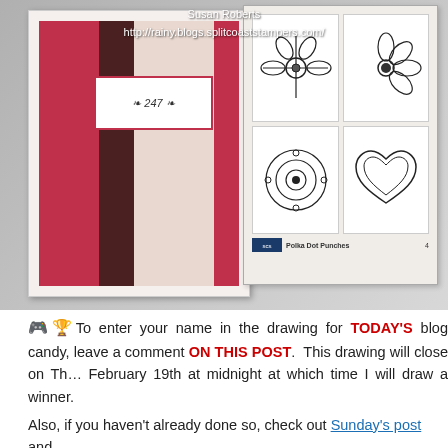[Figure (photo): Photo of a handmade greeting card with red, brown and pink layers, a brown ribbon bow and crocheted flower embellishment, alongside a Stampin Up Polka Dot Punches stamp set. Overlay text shows Susan Roberts and blog URL.]
🎮🏆To enter your name in the drawing for TODAY'S blog candy, leave a comment ON THIS POST. This drawing will close on Thursday February 19th at midnight at which time I will draw a winner.
Also, if you haven't already done so, check out Sunday's post and